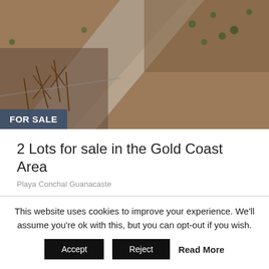[Figure (photo): Aerial or overhead photo of a construction site or garden plot with red/brown soil, planted seedlings in rows, wooden stakes, and a concrete pathway or wall running diagonally.]
2 Lots for sale in the Gold Coast Area
Playa Conchal Guanacaste
2 Lot for sale in  Playa Conchal Guanacaste Costa Rica The Lot Playa C consists of two contiguous properties of 1,500 square meters the first square meters the second. Properties are located in front of the public a ...
This website uses cookies to improve your experience. We'll assume you're ok with this, but you can opt-out if you wish.